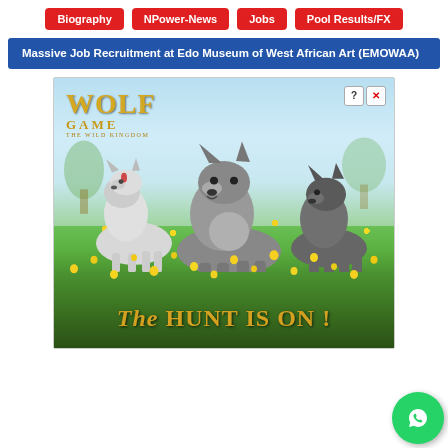Biography | NPower-News | Jobs | Pool Results/FX
Massive Job Recruitment at Edo Museum of West African Art (EMOWAA)
[Figure (illustration): Wolf Game: The Wild Kingdom advertisement banner showing three wolves in a meadow with yellow flowers and text 'The Hunt Is On!']
[Figure (logo): WhatsApp contact button (green circle with phone icon)]